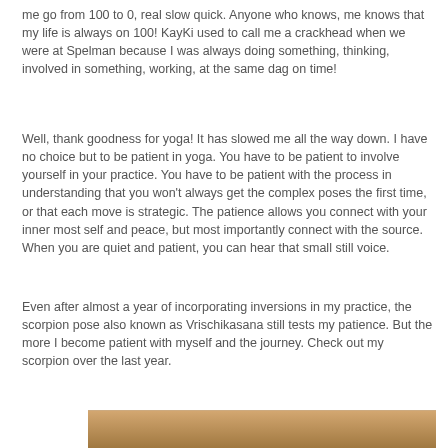me go from 100 to 0, real slow quick. Anyone who knows, me knows that my life is always on 100! KayKi used to call me a crackhead when we were at Spelman because I was always doing something, thinking, involved in something, working, at the same dag on time!
Well, thank goodness for yoga! It has slowed me all the way down. I have no choice but to be patient in yoga. You have to be patient to involve yourself in your practice. You have to be patient with the process in understanding that you won't always get the complex poses the first time, or that each move is strategic. The patience allows you connect with your inner most self and peace, but most importantly connect with the source. When you are quiet and patient, you can hear that small still voice.
Even after almost a year of incorporating inversions in my practice, the scorpion pose also known as Vrischikasana still tests my patience. But the more I become patient with myself and the journey. Check out my scorpion over the last year.
[Figure (photo): Partial view of a photo strip showing what appears to be a yoga pose or person, warm orange/brown tones visible at the bottom of the page]